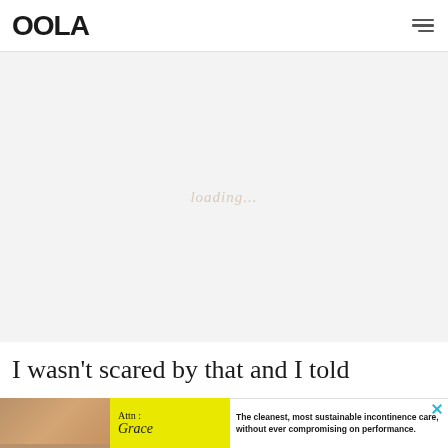OOLA
[Figure (other): Gray advertisement placeholder area with faint italic loading text in center]
I wasn't scared by that and I told
[Figure (infographic): Advertisement banner: image of person with incontinence product, yellow box with 'Attn: Grace' text, white box with text 'The cleanest, most sustainable incontinence care, without ever compromising on performance.' and a close X button]